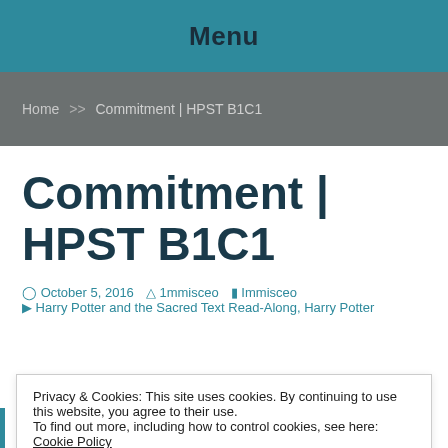Menu
Home >> Commitment | HPST B1C1
Commitment | HPST B1C1
October 5, 2016   1mmisceo   Immisceo   Harry Potter and the Sacred Text Read-Along, Harry Potter
Privacy & Cookies: This site uses cookies. By continuing to use this website, you agree to their use.
To find out more, including how to control cookies, see here: Cookie Policy
Close and accept